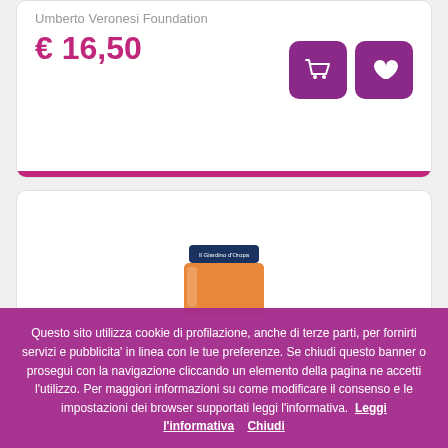Umberto Veronesi Foundation
€ 16,50
[Figure (illustration): Purple square button with shopping basket icon]
[Figure (illustration): Purple square button with heart icon]
[Figure (photo): Product jar - Il Giardino d'Oropa brand, orange contents visible, partial view]
Essenziale in aceto - I Sottaceti di Morganì 580 ml
Questo sito utilizza cookie di profilazione, anche di terze parti, per fornirti servizi e pubblicita' in linea con le tue preferenze. Se chiudi questo banner o prosegui con la navigazione cliccando un elemento della pagina ne accetti l'utilizzo. Per maggiori informazioni su come modificare il consenso e le impostazioni dei browser supportati leggi l'informativa. Leggi l'informativa Chiudi